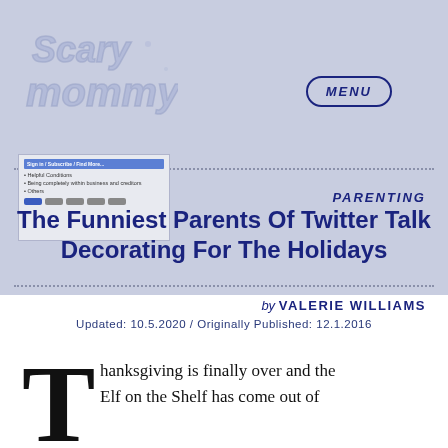[Figure (logo): Scary Mommy logo in light blue/grey bubble letter style]
[Figure (screenshot): Small screenshot of a navigation/menu interface]
PARENTING
The Funniest Parents Of Twitter Talk Decorating For The Holidays
by VALERIE WILLIAMS
Updated: 10.5.2020 / Originally Published: 12.1.2016
Thanksgiving is finally over and the Elf on the Shelf has come out of